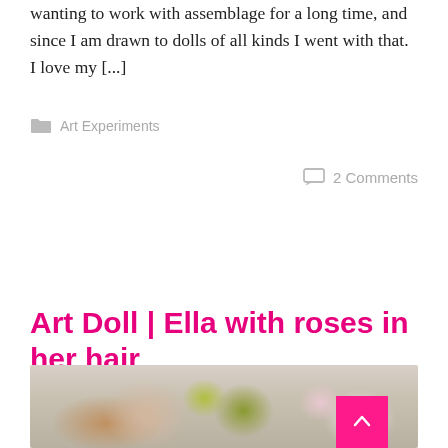wanting to work with assemblage for a long time, and since I am drawn to dolls of all kinds I went with that. I love my [...]
Art Experiments
2 Comments
Read More
Art Doll | Ella with roses in her hair
[Figure (photo): Close-up photo of an art doll head with white roses, golden glittery hair, and pink flowers in the background on a round gold frame]